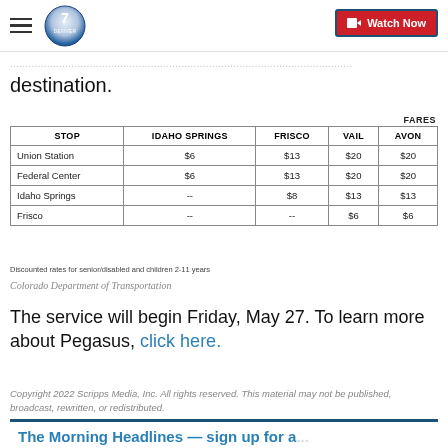Denver 7 – Watch Now
destination.
| STOP | IDAHO SPRINGS | FRISCO | VAIL | AVON |
| --- | --- | --- | --- | --- |
| Union Station | $6 | $13 | $20 | $20 |
| Federal Center | $6 | $13 | $20 | $20 |
| Idaho Springs | -- | $8 | $13 | $13 |
| Frisco | -- | -- | $6 | $6 |
Discounted rates for senior/disabled and children 2-11 years
Colorado Department of Transportation
The service will begin Friday, May 27. To learn more about Pegasus, click here.
Copyright 2022 Scripps Media, Inc. All rights reserved. This material may not be published, broadcast, rewritten, or redistributed.